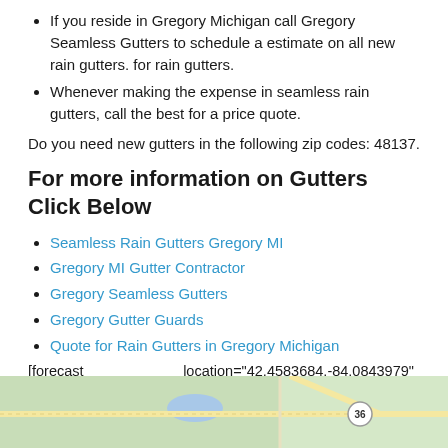If you reside in Gregory Michigan call Gregory Seamless Gutters to schedule a estimate on all new rain gutters. for rain gutters.
Whenever making the expense in seamless rain gutters, call the best for a price quote.
Do you need new gutters in the following zip codes: 48137.
For more information on Gutters Click Below
Seamless Rain Gutters Gregory MI
Gregory MI Gutter Contractor
Gregory Seamless Gutters
Gregory Gutter Guards
Quote for Rain Gutters in Gregory Michigan
[forecast location="42.4583684,-84.0843979" caption="Weather for Gregory" measurement='F' todaylabel="Today" datelabel="date('m/d/Y')" highlow='%%high%%/%%low%%' numdays="5" iconset="Contemporary" class="css_table_class" cache="true" width="100%"]
[Figure (map): Map showing Gregory Michigan area with road 36 visible]